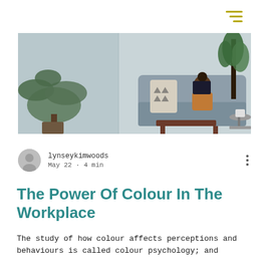[Figure (photo): Interior living room scene with a woman sitting on a grey sofa reading a book, a wooden coffee table, and indoor plants. Split into two panels.]
lynseykimwoods
May 22 · 4 min
The Power Of Colour In The Workplace
The study of how colour affects perceptions and behaviours is called colour psychology; and